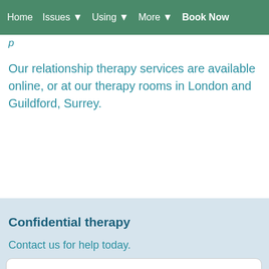Home  Issues ▼  Using ▼  More ▼  Book Now
Our relationship therapy services are available online, or at our therapy rooms in London and Guildford, Surrey.
Confidential therapy
Contact us for help today.
Your email address or phone number.
Contact
Call 0800 292 2126 or BOOK HERE .